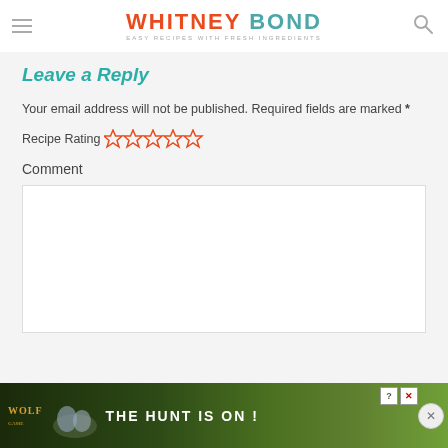WHITNEY BOND — EASY RECIPES WITH FRESH INGREDIENTS
Leave a Reply
Your email address will not be published. Required fields are marked *
Recipe Rating ☆☆☆☆☆
Comment
[Figure (screenshot): Empty comment text area input box]
[Figure (infographic): Wolf game advertisement banner: THE HUNT IS ON!]